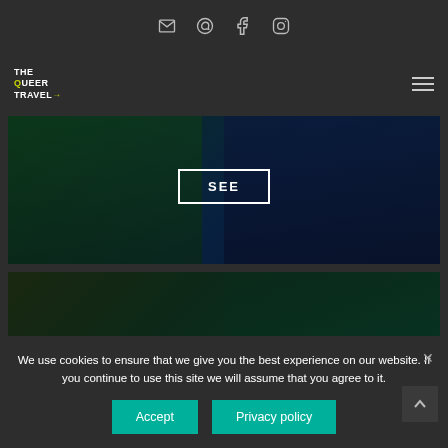[Figure (screenshot): Website header with social media icons: email, WhatsApp, Facebook, Instagram]
[Figure (logo): The Queer Travel logo in white with lime dot, hamburger menu icon on right]
[Figure (photo): Dark green-blue tinted travel photo with SEE button overlay]
[Figure (photo): Dark green tinted building/travel photo]
We use cookies to ensure that we give you the best experience on our website. If you continue to use this site we will assume that you agree to it.
Accept
Privacy policy